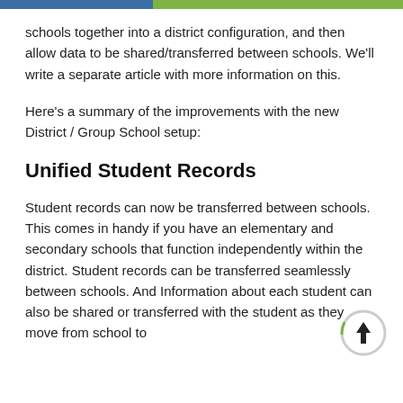schools together into a district configuration, and then allow data to be shared/transferred between schools. We'll write a separate article with more information on this.
Here's a summary of the improvements with the new District / Group School setup:
Unified Student Records
Student records can now be transferred between schools. This comes in handy if you have an elementary and secondary schools that function independently within the district. Student records can be transferred seamlessly between schools. And Information about each student can also be shared or transferred with the student as they move from school to